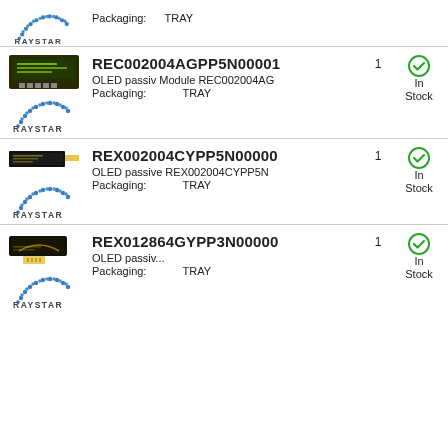[Figure (logo): Partial row top: Packaging TRAY text and Raystar logo]
Packaging:      TRAY
[Figure (logo): Raystar logo]
[Figure (photo): Green OLED module product image]
REC002004AGPP5N00001
OLED passiv Module REC002004AG
Packaging:      TRAY
1
In Stock
[Figure (logo): Raystar logo]
[Figure (photo): Black OLED module product image REX002004CYPP5N]
REX002004CYPP5N00000
OLED passive REX002004CYPP5N
Packaging:      TRAY
1
In Stock
[Figure (logo): Raystar logo]
[Figure (photo): Black OLED module product image REX012864GYPP3N]
REX012864GYPP3N00000
OLED passiv...
Packaging:      TRAY
1
In Stock
[Figure (logo): Raystar logo]